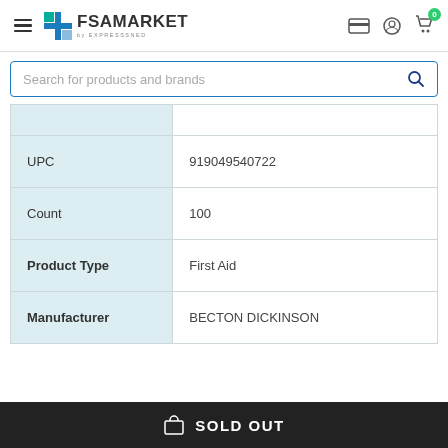FSA MARKET by EXPRESSSNED
Search for products and brands
| UPC | 919049540722 |
| Count | 100 |
| Product Type | First Aid |
| Manufacturer | BECTON DICKINSON |
SOLD OUT